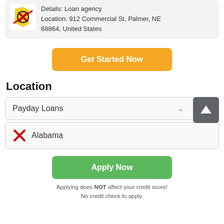[Figure (logo): Loan agency logo with map pin and currency symbols]
Details: Loan agency
Location: 912 Commercial St, Palmer, NE 68864, United States
Get Started Now
Location
Payday Loans
[Figure (other): Scroll-up button with white arrow on grey background]
Alabama
Apply Now
Applying does NOT affect your credit score!
No credit check to apply.